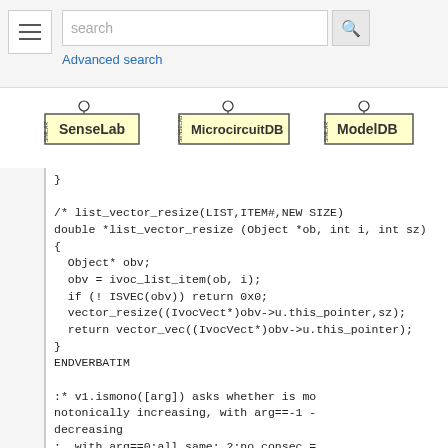[Figure (screenshot): Top navigation bar with hamburger menu, search box with magnifying glass icon, and Advanced search link]
[Figure (logo): Three logos: SenseLab, MicrocircuitDB, ModelDB]
}

/* list_vector_resize(LIST,ITEM#,NEW SIZE)
double *list_vector_resize (Object *ob, int i, int sz) {
  Object* obv;
  obv = ivoc_list_item(ob, i);
  if (! ISVEC(obv)) return 0x0;
  vector_resize((IvocVect*)obv->u.this_pointer,sz);
  return vector_vec((IvocVect*)obv->u.this_pointer);
}
ENDVERBATIM

:* v1.ismono([arg]) asks whether is monotonically increasing, with arg==-1 - decreasing
:  with arg==0:all same; 2:no consec =
:  with arg==0:all same; 2:no consec =